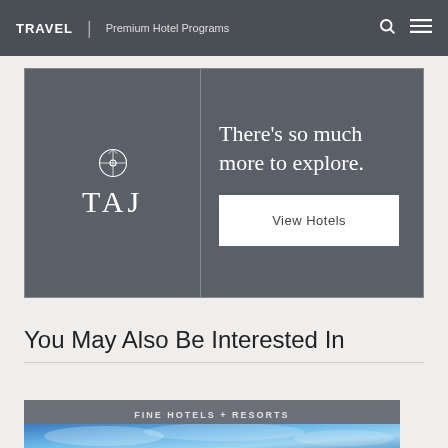TRAVEL | Premium Hotel Programs
[Figure (logo): TAJ Hotels promotional banner with TAJ logo on left and 'There's so much more to explore.' text and 'View Hotels' button on right, dark gray background]
You May Also Be Interested In
FINE HOTELS + RESORTS
[Figure (photo): Blue sky and clouds hotel exterior photo strip]